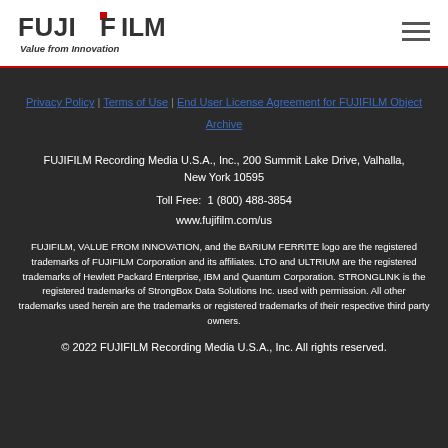[Figure (logo): FUJIFILM logo with 'Value from Innovation' tagline]
Privacy Policy | Terms of Use | End User License Agreement for FUJIFILM Object Archive
FUJIFILM Recording Media U.S.A., Inc., 200 Summit Lake Drive, Valhalla, New York 10595
Toll Free:  1 (800) 488-3854
www.fujifilm.com/us
FUJIFILM, VALUE FROM INNOVATION, and the BARIUM FERRITE logo are the registered trademarks of FUJIFILM Corporation and its affiliates. LTO and ULTRIUM are the registered trademarks of Hewlett Packard Enterprise, IBM and Quantum Corporation. STRONGLINK is the registered trademarks of StrongBox Data Solutions Inc. used with permission. All other trademarks used herein are the trademarks or registered trademarks of their respective third party owners.
© 2022 FUJIFILM Recording Media U.S.A., Inc. All rights reserved.